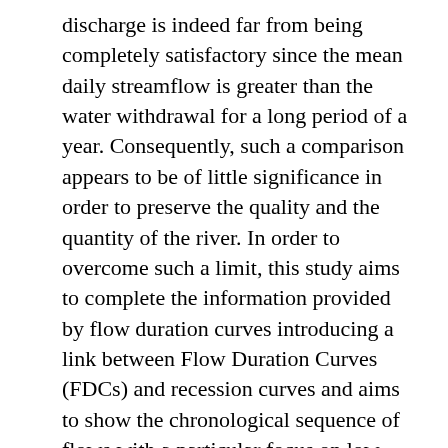discharge is indeed far from being completely satisfactory since the mean daily streamflow is greater than the water withdrawal for a long period of a year. Consequently, such a comparison appears to be of little significance in order to preserve the quality and the quantity of the river. In order to overcome such a limit, this study aims to complete the information provided by flow duration curves introducing a link between Flow Duration Curves (FDCs) and recession curves and aims to show the chronological sequence of flows with a particular focus on low flow data. The analysis is carried out on 25 catchments located in North-Eastern Italy for which daily data are provided. The results identify groups of catchments as hydrologically homogeneous, having the lower part of the FDCs (corresponding streamflow interval is streamflow Q between 300 and 335, namely: Q(300), Q(335)) smoothly reproduced by a common recession